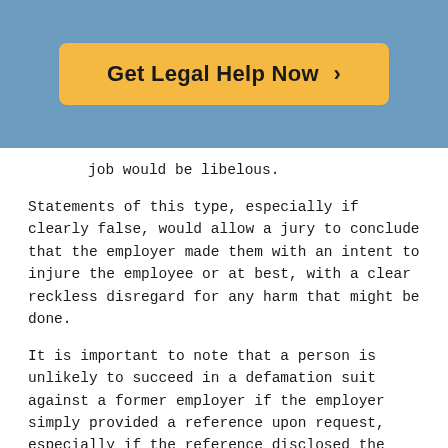[Figure (other): Call-to-action button with orange/yellow background reading 'Get Legal Help Now >' on a blue/steel banner background]
job would be libelous.
Statements of this type, especially if clearly false, would allow a jury to conclude that the employer made them with an intent to injure the employee or at best, with a clear reckless disregard for any harm that might be done.
It is important to note that a person is unlikely to succeed in a defamation suit against a former employer if the employer simply provided a reference upon request, especially if the reference disclosed the employee's actual performance ratings and other materials from their record of employment with the employer. An employee must prove that a former employer, either recklessly or intentionally, gave a